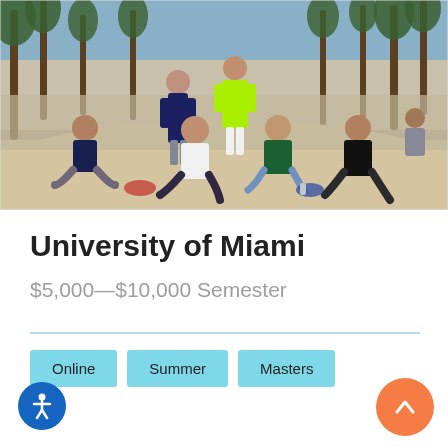[Figure (photo): Group of students sitting and standing on a sandy beach with palm trees in the background. Some students are sitting on the sand, others standing. One person is wearing a bright green shirt.]
University of Miami
$5,000—$10,000 Semester
Online
Summer
Masters